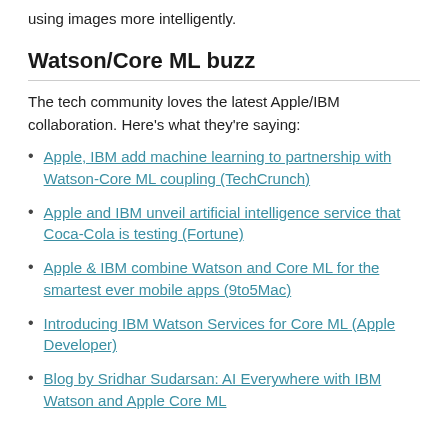using images more intelligently.
Watson/Core ML buzz
The tech community loves the latest Apple/IBM collaboration. Here’s what they’re saying:
Apple, IBM add machine learning to partnership with Watson-Core ML coupling (TechCrunch)
Apple and IBM unveil artificial intelligence service that Coca-Cola is testing (Fortune)
Apple & IBM combine Watson and Core ML for the smartest ever mobile apps (9to5Mac)
Introducing IBM Watson Services for Core ML (Apple Developer)
Blog by Sridhar Sudarsan: AI Everywhere with IBM Watson and Apple Core ML